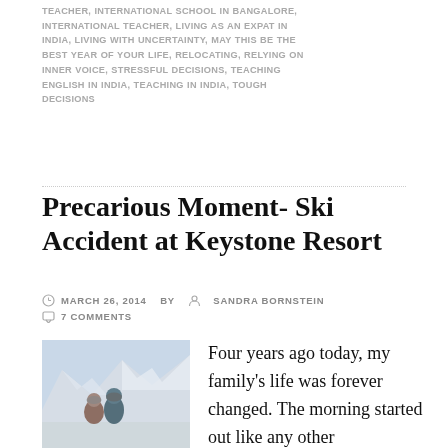TEACHER, INTERNATIONAL SCHOOL IN BANGALORE, INTERNATIONAL TEACHER, LIVING AS AN EXPAT IN INDIA, LIVING WITH UNCERTAINTY, MAY THIS BE THE BEST YEAR OF YOUR LIFE, RELOCATING, RELYING ON INNER VOICE, STRESSFUL DECISIONS, TEACHING ENGLISH IN INDIA, TEACHING IN INDIA, TOUGH DECISIONS
Precarious Moment- Ski Accident at Keystone Resort
MARCH 26, 2014  BY  SANDRA BORNSTEIN
7 COMMENTS
[Figure (photo): Two people in ski gear posing on a snowy mountain slope with mountain peaks in background]
Four years ago today, my family's life was forever changed. The morning started out like any other